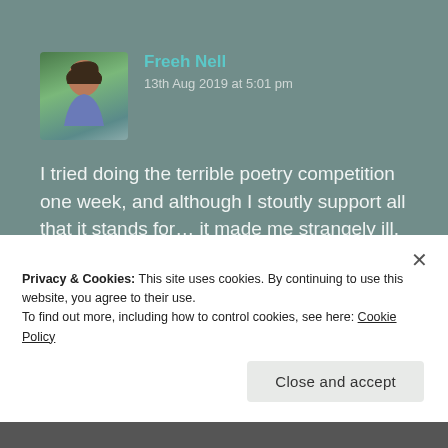Freeh Nell
13th Aug 2019 at 5:01 pm
I tried doing the terrible poetry competition one week, and although I stoutly support all that it stands for… it made me strangely ill, writing a poem that bad. LOL
★ Liked by 1 person
↳ Reply
Privacy & Cookies: This site uses cookies. By continuing to use this website, you agree to their use.
To find out more, including how to control cookies, see here: Cookie Policy
Close and accept